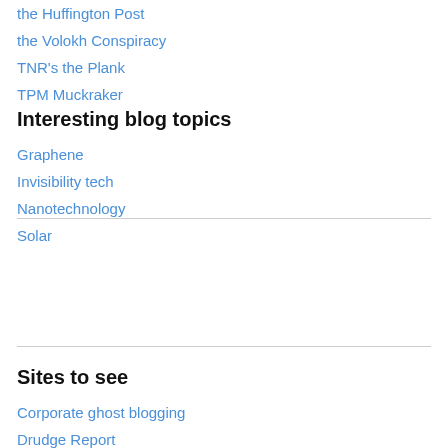the Huffington Post
the Volokh Conspiracy
TNR's the Plank
TPM Muckraker
Interesting blog topics
Graphene
Invisibility tech
Nanotechnology
Solar
Sites to see
Corporate ghost blogging
Drudge Report
Fark.com
Foresight Nanotech Institute
FreeRice.com